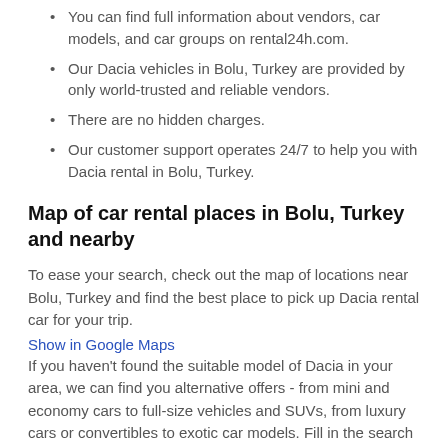You can find full information about vendors, car models, and car groups on rental24h.com.
Our Dacia vehicles in Bolu, Turkey are provided by only world-trusted and reliable vendors.
There are no hidden charges.
Our customer support operates 24/7 to help you with Dacia rental in Bolu, Turkey.
Map of car rental places in Bolu, Turkey and nearby
To ease your search, check out the map of locations near Bolu, Turkey and find the best place to pick up Dacia rental car for your trip.
Show in Google Maps
If you haven't found the suitable model of Dacia in your area, we can find you alternative offers - from mini and economy cars to full-size vehicles and SUVs, from luxury cars or convertibles to exotic car models. Fill in the search form and view all the possible cars in Bolu, Turkey.